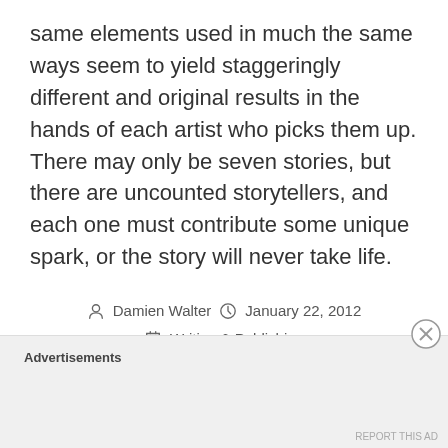same elements used in much the same ways seem to yield staggeringly different and original results in the hands of each artist who picks them up. There may only be seven stories, but there are uncounted storytellers, and each one must contribute some unique spark, or the story will never take life.
Damien Walter  January 22, 2012  Writing & Publishing  Arthur Quiller-Couch, Christopher Booker, Conflict, Joseph Campbell, Monomyth, Paulo Coelho, Thirty-Six Dramatic Situations, Toy Story
Advertisements